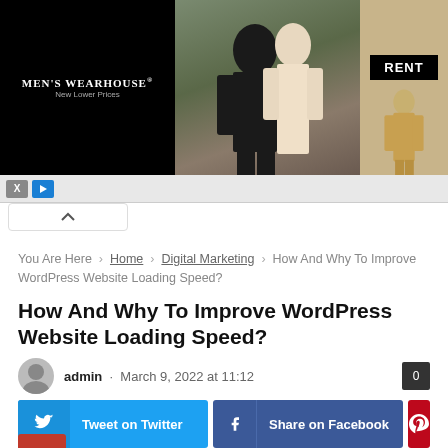[Figure (photo): Men's Wearhouse advertisement banner showing couple in formal wear, man in tuxedo, and banner reading RENT with a man in a tan suit]
You Are Here > Home > Digital Marketing > How And Why To Improve WordPress Website Loading Speed?
How And Why To Improve WordPress Website Loading Speed?
admin · March 9, 2022 at 11:12
Tweet on Twitter | Share on Facebook | Pinterest | Email